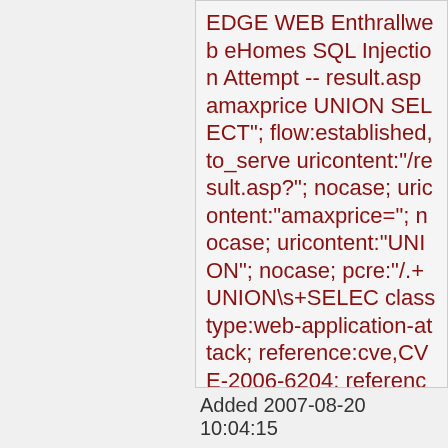EDGE WEB Enthrallweb eHomes SQL Injection Attempt -- result.asp amaxprice UNION SELECT"; flow:established,to_server; uricontent:"/result.asp?"; nocase; uricontent:"amaxprice="; nocase; uricontent:"UNION"; nocase; pcre:"/.+UNION\s+SELEC classtype:web-application-attack; reference:cve,CVE-2006-6204; reference:url,www.securit sid:2007131; rev:1;)
Added 2007-08-20 10:04:15